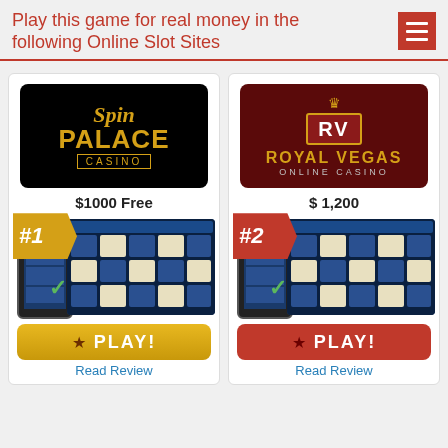Play this game for real money in the following Online Slot Sites
[Figure (screenshot): Spin Palace Casino card with logo, $1000 Free bonus, #1 badge, game screenshots, gold PLAY button, Read Review link]
[Figure (screenshot): Royal Vegas Online Casino card with logo, $1,200 bonus, #2 badge, game screenshots, red PLAY button, Read Review link]